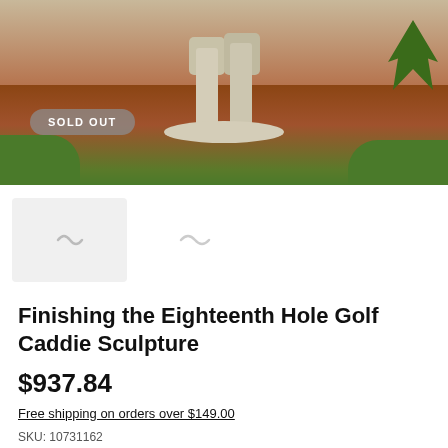[Figure (photo): Outdoor garden sculpture of a golf caddie, showing the lower body with knickerbockers and boots standing on a stone base, surrounded by reddish-brown mulch and green grass, with a 'SOLD OUT' badge overlay]
[Figure (photo): Small thumbnail images of the golf caddie sculpture, shown as loading placeholders]
Finishing the Eighteenth Hole Golf Caddie Sculpture
$937.84
Free shipping on orders over $149.00
SKU: 10731162